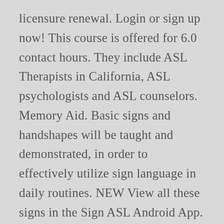licensure renewal. Login or sign up now! This course is offered for 6.0 contact hours. They include ASL Therapists in California, ASL psychologists and ASL counselors. Memory Aid. Basic signs and handshapes will be taught and demonstrated, in order to effectively utilize sign language in daily routines. NEW View all these signs in the Sign ASL Android App. See all formats and editions Hide other formats and editions. occupational therapy. Save your course outline and certificate of completion, and contact your own board or organization for specific filing requirements. Variation 1 - ASL ; Variation 2 - ASL; Variation 3 - Fingerspelled; Add to Word List. This course is